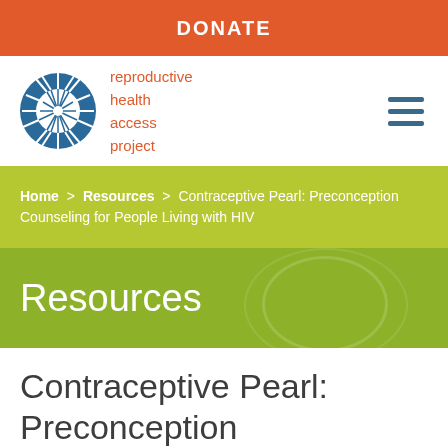DONATE
[Figure (logo): Reproductive Health Access Project circular logo with radiating segments in blue, alongside text 'reproductive health access project' in orange]
Home > Resources > Contraceptive Pearl: Preconception Counseling for People Living with HIV
Resources
Contraceptive Pearl: Preconception